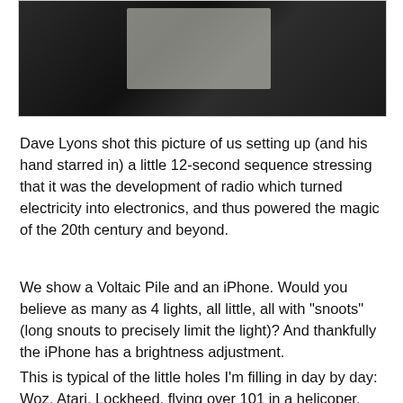[Figure (photo): Dark interior photo showing equipment being set up, possibly cameras or lighting equipment in a dimly lit space]
Dave Lyons shot this picture of us setting up (and his hand starred in) a little 12-second sequence stressing that it was the development of radio which turned electricity into electronics, and thus powered the magic of the 20th century and beyond.
We show a Voltaic Pile and an iPhone. Would you believe as many as 4 lights, all little, all with "snoots" (long snouts to precisely limit the light)? And thankfully the iPhone has a brightness adjustment.
This is typical of the little holes I'm filling in day by day: Woz, Atari, Lockheed, flying over 101 in a helicoper, Sunnyvale Standard, Hallicrafters, Ohlone, the sequence above. All script holes being filled in all over the place, mostly backstory context.
Work on Sunnyvale's Heritage Park Museum has progressed